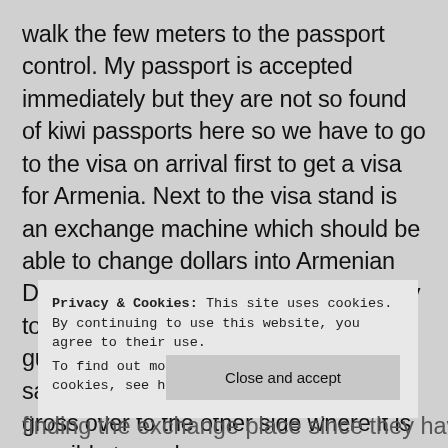walk the few meters to the passport control. My passport is accepted immediately but they are not so found of kiwi passports here so we have to go to the visa on arrival first to get a visa for Armenia. Next to the visa stand is an exchange machine which should be able to change dollars into Armenian Drams. We look at the machine and try to figure it out – then one of the border guards comes and have a look and says it is doesn't work. So I have to gross over to the other side where it is possible to exchange money.
Privacy & Cookies: This site uses cookies. By continuing to use this website, you agree to their use.
To find out more, including how to control cookies, see here: Our Cookie Policy
Close and accept
finding the exchange place since they have given me the